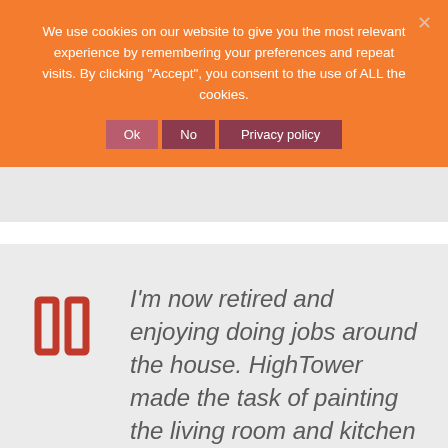We use cookies on our website to give you the most relevant experience by remembering your preferences and repeat visits. By clicking "Accept", you consent to the use of ALL the cookies.
Ok  No  Privacy policy
I'm now retired and enjoying doing jobs around the house. HighTower made the task of painting the living room and kitchen a lot easier and at my